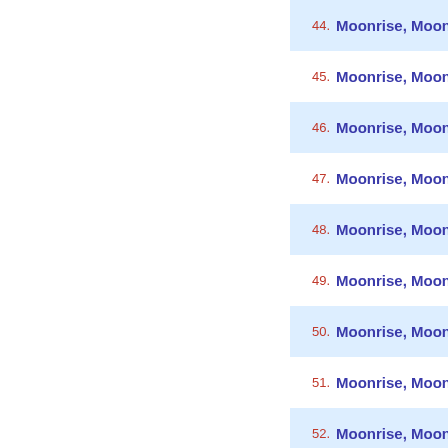44. Moonrise, Moonset Calendar of Ashgabat, Tu
45. Moonrise, Moonset Calendar of Ashkelon, Isr
46. Moonrise, Moonset Calendar of Astana, Kaza
47. Moonrise, Moonset Calendar of Atyrau, Kaza
48. Moonrise, Moonset Calendar of Auraiya, Utta
49. Moonrise, Moonset Calendar of Aurangabad,
50. Moonrise, Moonset Calendar of Aurangabad,
51. Moonrise, Moonset Calendar of Azamgarh, U
52. Moonrise, Moonset Calendar of Bacolod, Phil
53. Moonrise, Moonset Calendar of Badaun, Utta
54. Moonrise, Moonset Calendar of Badrinath, U
55. Moonrise, Moonset Calendar of Baghdad, Iraq
56. Moonrise, Moonset Calendar of Baghlan, Afg